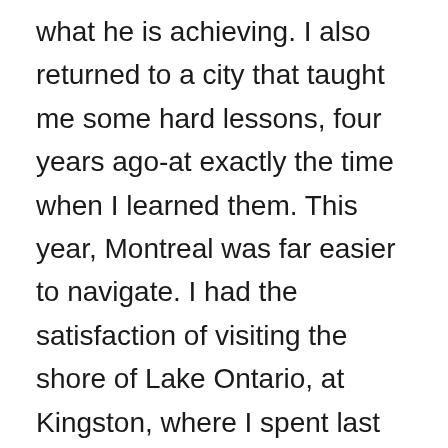what he is achieving. I also returned to a city that taught me some hard lessons, four years ago-at exactly the time when I learned them. This year, Montreal was far easier to navigate. I had the satisfaction of visiting the shore of Lake Ontario, at Kingston, where I spent last night, and the north bank of the St. Lawrence River, at Prescott, Ontario (“That’s PresCOTT, there, Yank!”). I also was able to put the Saturn in a highly secure garage for the evening, once arriving in Montreal. Father’s day, my way, was capped by a wonton supper at Chef B.Lee, on St. Catherine Street, in the